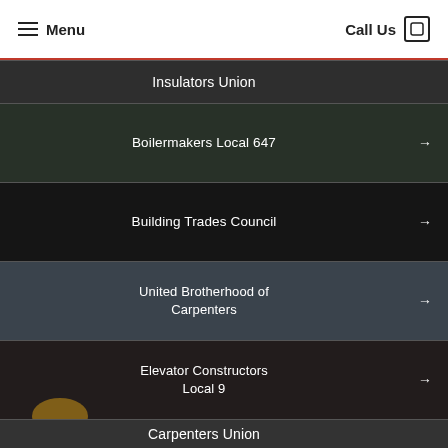Menu | Call Us
Insulators Union →
Boilermakers Local 647 →
Building Trades Council →
United Brotherhood of Carpenters →
Elevator Constructors Local 9 →
Carpenters Union →